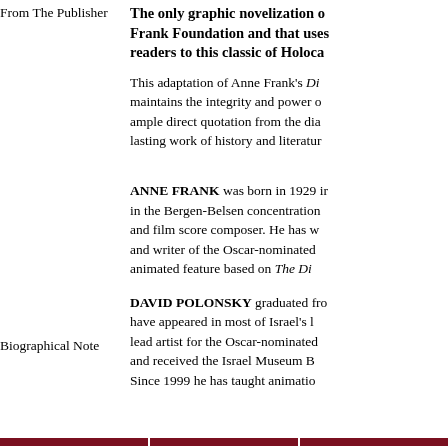From The Publisher
The only graphic novelization of Anne Frank's Diary endorsed by the Anne Frank Foundation and that uses ample direct quotation from the diary to introduce readers to this classic of Holocaust literature.
This adaptation of Anne Frank's Diary maintains the integrity and power of the original, with ample direct quotation from the diary, to recreate this lasting work of history and literature.
Biographical Note
ANNE FRANK was born in 1929 in Frankfurt, Germany. She died in the Bergen-Belsen concentration camp in 1945. ARI FOLMAN is a screenwriter, director, and film score composer. He has written and directed the Oscar-nominated Waltz with Bashir and writer of the Oscar-nominated animated feature based on The Diary of a Young Girl.
DAVID POLONSKY graduated from the Bezalel Academy. His illustrations have appeared in most of Israel's leading publications. He has served as lead artist for the Oscar-nominated animated feature Waltz with Bashir and received the Israel Museum Benjamin Foundation prize. Since 1999 he has taught animation at the Bezalel Academy.